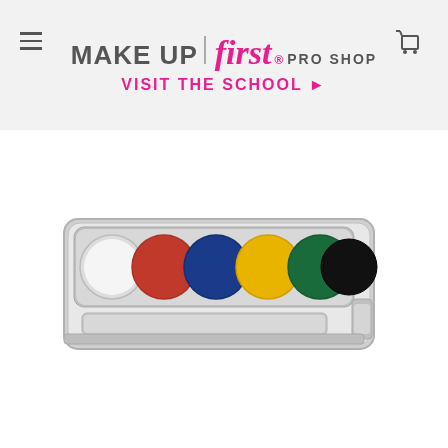MAKE UP first. PRO SHOP
VISIT THE SCHOOL →
[Figure (photo): A metal makeup palette with 6 round color pans: white, red, blue, yellow, green, and black, arranged in a row inside a silver metal case with a mixing tray at the bottom and a clasp on the right side.]